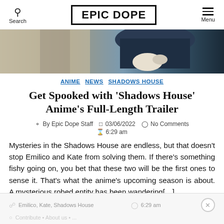Search | EPIC DOPE | Menu
[Figure (illustration): Anime hero image showing characters from Shadows House in dark blue and warm tones]
ANIME NEWS SHADOWS HOUSE
Get Spooked with ‘Shadows House’ Anime’s Full-Length Trailer
By Epic Dope Staff   03/06/2022   No Comments   6:29 am
Mysteries in the Shadows House are endless, but that doesn’t stop Emilico and Kate from solving them. If there’s something fishy going on, you bet that these two will be the first ones to sense it. That’s what the anime’s upcoming season is about. A mysterious robed entity has been wandering[…]
Emilico, Kate, Shadows House   6:29 am